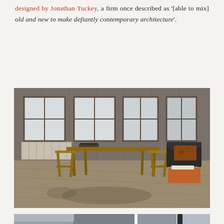designed by Jonathan Tuckey, a firm once described as '[able to mix] old and new to make defiantly contemporary architecture'.
[Figure (photo): Interior dining room photograph showing wooden furniture — a rectangular dining table with several wooden chairs around it — on a wide-plank wooden floor. Background features multiple large windows letting in natural light, wood-panelled walls, and to the right a black armchair with a floral cushion and an orange/red ottoman with a book on it.]
[Figure (photo): Bottom-left: interior architectural photograph showing a gray-painted stairwell or hallway with white walls and a vertical dividing panel.]
[Figure (photo): Bottom-right: interior architectural photograph showing a corner detail with gray walls, a wooden handrail, and a black cylindrical column or pipe.]